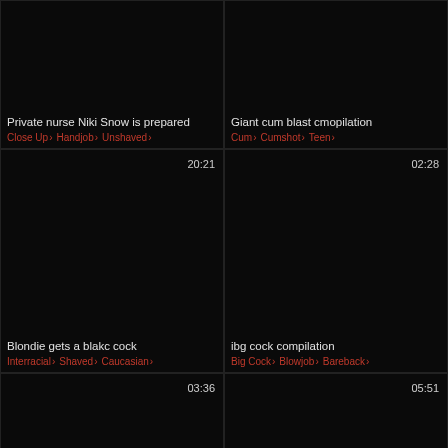[Figure (screenshot): Video thumbnail - dark/black]
Private nurse Niki Snow is prepared
Close Up > Handjob > Unshaved >
[Figure (screenshot): Video thumbnail - dark/black]
Giant cum blast cmopilation
Cum > Cumshot > Teen >
[Figure (screenshot): Video thumbnail - dark/black, duration 20:21]
Blondie gets a blakc cock
Interracial > Shaved > Caucasian >
[Figure (screenshot): Video thumbnail - dark/black, duration 02:28]
ibg cock compilation
Big Cock > Blowjob > Bareback >
[Figure (screenshot): Video thumbnail - dark/black, duration 03:36]
Perfec5 Teasing
[Figure (screenshot): Video thumbnail - dark/black, duration 05:51]
MILF taboo femdoj handjob to big
Hand Domination > MILF Big Cock >